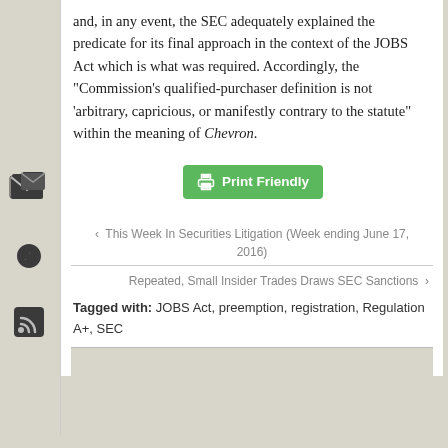and, in any event, the SEC adequately explained the predicate for its final approach in the context of the JOBS Act which is what was required. Accordingly, the “Commission’s qualified-purchaser definition is not ‘arbitrary, capricious, or manifestly contrary to the statute” within the meaning of Chevron.
[Figure (other): Print Friendly button with printer icon, green background]
[Figure (other): Email share icon]
[Figure (other): Twitter bird icon]
[Figure (other): RSS feed icon]
‹ This Week In Securities Litigation (Week ending June 17, 2016)
Repeated, Small Insider Trades Draws SEC Sanctions ›
Tagged with: JOBS Act, preemption, registration, Regulation A+, SEC